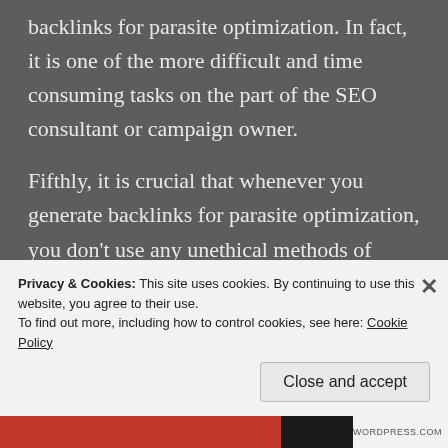backlinks for parasite optimization. In fact, it is one of the more difficult and time consuming tasks on the part of the SEO consultant or campaign owner.
Fifthly, it is crucial that whenever you generate backlinks for parasite optimization, you don't use any unethical methods of gaining backlinks for your website or blog. One of the common practices is creating backlinks using anchor texts that are related to your site content. Other unethical techniques include posting blatant ads on forum sites, sending out spam email campaigns, and having backlinks posted on spam sites such as forums.
Privacy & Cookies: This site uses cookies. By continuing to use this website, you agree to their use.
To find out more, including how to control cookies, see here: Cookie Policy